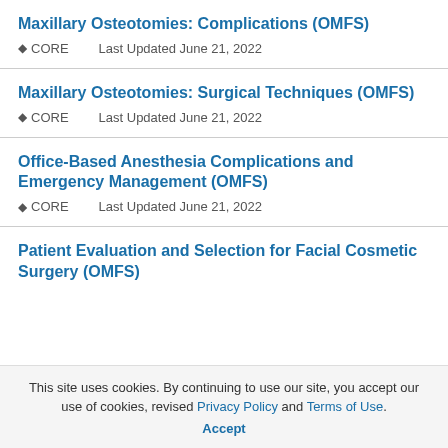Maxillary Osteotomies: Complications (OMFS)
◆ CORE    Last Updated June 21, 2022
Maxillary Osteotomies: Surgical Techniques (OMFS)
◆ CORE    Last Updated June 21, 2022
Office-Based Anesthesia Complications and Emergency Management (OMFS)
◆ CORE    Last Updated June 21, 2022
Patient Evaluation and Selection for Facial Cosmetic Surgery (OMFS)
This site uses cookies. By continuing to use our site, you accept our use of cookies, revised Privacy Policy and Terms of Use. Accept